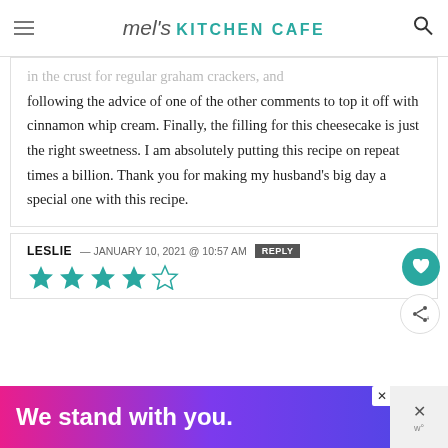mel's KITCHEN CAFE
in the crust for regular graham crackers, and following the advice of one of the other comments to top it off with cinnamon whip cream. Finally, the filling for this cheesecake is just the right sweetness. I am absolutely putting this recipe on repeat times a billion. Thank you for making my husband's big day a special one with this recipe.
LESLIE — JANUARY 10, 2021 @ 10:57 AM REPLY
[Figure (other): Star rating: 4 out of 5 stars (teal colored stars)]
[Figure (other): Advertisement banner: We stand with you.]